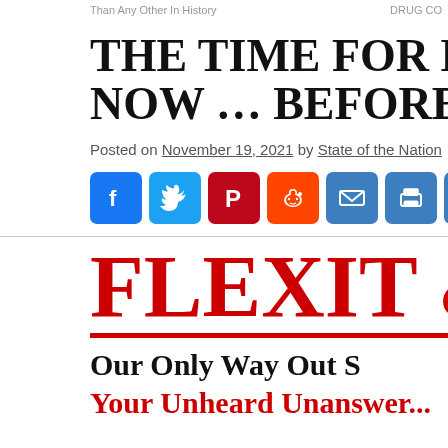Than Any Other In History    DRUG CO
THE TIME FOR DECISIVE A NOW … BEFORE IT'S TOO
Posted on November 19, 2021 by State of the Nation
[Figure (infographic): Social media share buttons: Facebook, Twitter, Pinterest, Reddit, Email, Print, Like, and a plus/share button]
FLEXIT & T
Our Only Way Out S
Your Unheard Unanswer...